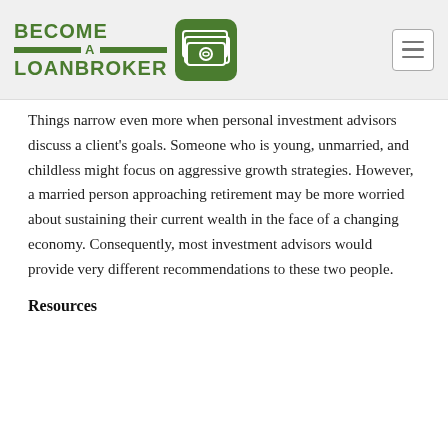[Figure (logo): Become a Loanbroker logo with green text and money icon]
Things narrow even more when personal investment advisors discuss a client's goals. Someone who is young, unmarried, and childless might focus on aggressive growth strategies. However, a married person approaching retirement may be more worried about sustaining their current wealth in the face of a changing economy. Consequently, most investment advisors would provide very different recommendations to these two people.
Resources